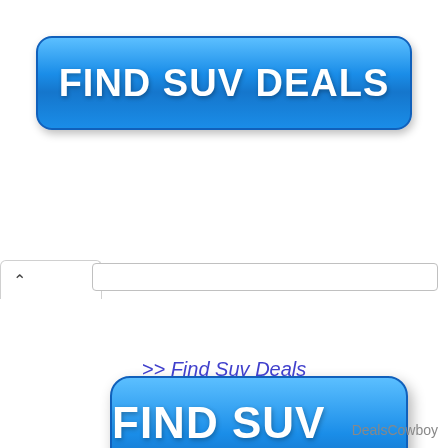[Figure (screenshot): Blue rounded rectangle button with bold white text reading FIND SUV DEALS]
[Figure (screenshot): Browser tab bar with caret symbol and address input field]
[Figure (screenshot): Larger blue rounded rectangle button with bold white text reading FIND SUV DEALS]
>> Find Suv Deals
DealsCowboy